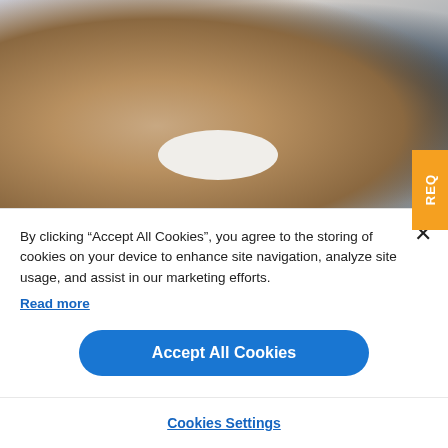[Figure (photo): Two women having a conversation at a round white table in an office or cafe setting. One woman faces the camera smiling and gesturing, wearing a light beige top. The other woman is seen from behind, wearing a dark navy top. Background shows windows with light coming through.]
By clicking “Accept All Cookies”, you agree to the storing of cookies on your device to enhance site navigation, analyze site usage, and assist in our marketing efforts.
Read more
Accept All Cookies
Cookies Settings